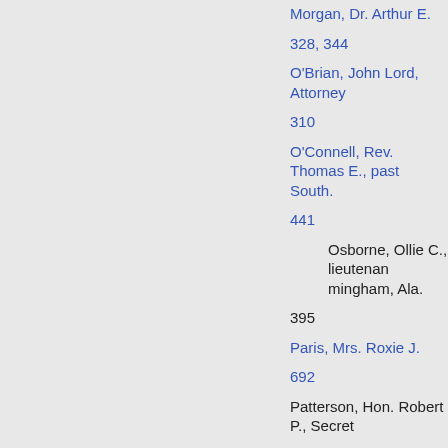Morgan, Dr. Arthur E.
328, 344
O'Brian, John Lord, Attorney
310
O'Connell, Rev. Thomas E., past... South.
441
Osborne, Ollie C., lieuntenan... mingham, Ala.
395
Paris, Mrs. Roxie J.
692
Patterson, Hon. Robert P., Secret...
323
Pike, Sumner T., appointee to Un... mission...
44
Remine, J. S.